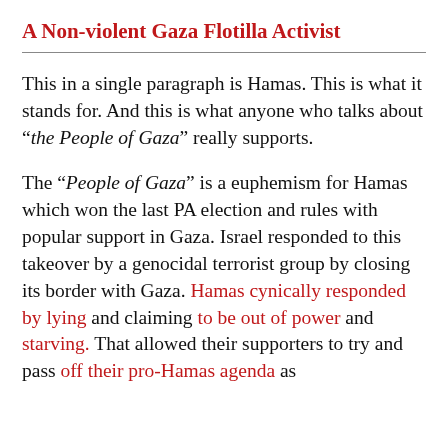A Non-violent Gaza Flotilla Activist
This in a single paragraph is Hamas. This is what it stands for. And this is what anyone who talks about “the People of Gaza” really supports.
The “People of Gaza” is a euphemism for Hamas which won the last PA election and rules with popular support in Gaza. Israel responded to this takeover by a genocidal terrorist group by closing its border with Gaza. Hamas cynically responded by lying and claiming to be out of power and starving. That allowed their supporters to try and pass off their pro-Hamas agenda as